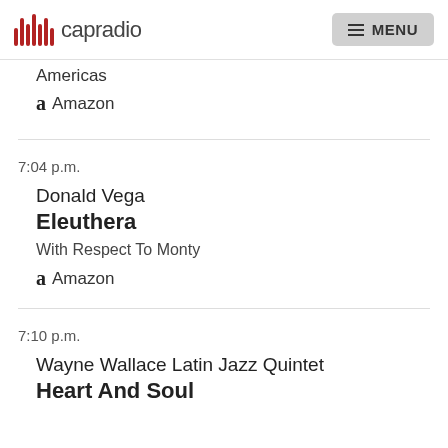capradio  MENU
Americas
a Amazon
7:04 p.m.
Donald Vega
Eleuthera
With Respect To Monty
a Amazon
7:10 p.m.
Wayne Wallace Latin Jazz Quintet
Heart And Soul